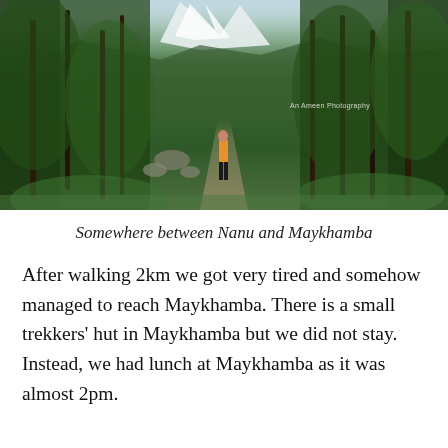[Figure (photo): A hiker standing on a mountain trail surrounded by dense green forest with snow-capped peaks visible in the background. The path winds through lush vegetation. Watermark reads 'An Ameen Photography'.]
Somewhere between Nanu and Maykhamba
After walking 2km we got very tired and somehow managed to reach Maykhamba. There is a small trekkers' hut in Maykhamba but we did not stay. Instead, we had lunch at Maykhamba as it was almost 2pm.